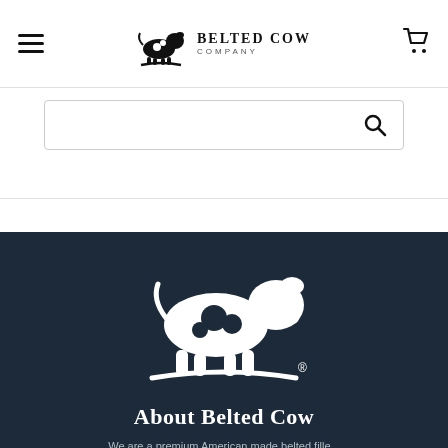[Figure (logo): Belted Cow Company logo with hamburger menu on left and shopping cart on right in white navigation bar]
[Figure (screenshot): Search bar with magnifying glass icon]
[Figure (logo): White Belted Cow logo (cow silhouette with spots and arc beneath) on dark navy background with registered trademark symbol]
About Belted Cow
We are a premium American made belted fille...